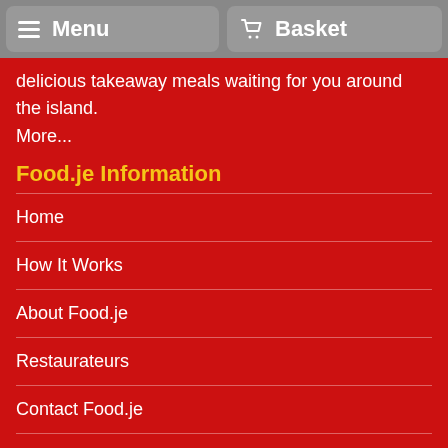Menu | Basket
delicious takeaway meals waiting for you around the island. More...
Food.je Information
Home
How It Works
About Food.je
Restaurateurs
Contact Food.je
Cookies
Gift Vouchers
Takeaway Cuisine